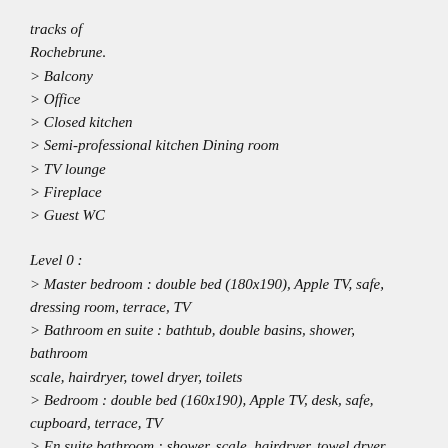tracks of Rochebrune.
> Balcony
> Office
> Closed kitchen
> Semi-professional kitchen Dining room
> TV lounge
> Fireplace
> Guest WC
Level 0 :
> Master bedroom : double bed (180x190), Apple TV, safe, dressing room, terrace, TV
> Bathroom en suite : bathtub, double basins, shower, bathroom
scale, hairdryer, towel dryer, toilets
> Bedroom : double bed (160x190), Apple TV, desk, safe, cupboard, terrace, TV
> En suite bathroom : shower, scale, hairdryer, towel dryer,